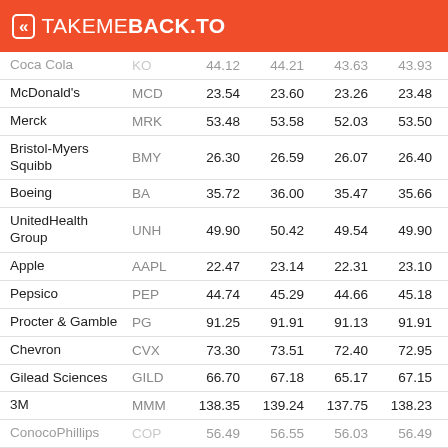TAKEMEBACK.TO
| Company | Ticker | Open | High | Low | Close | Volume |
| --- | --- | --- | --- | --- | --- | --- |
| Coca Cola | KO | 44.12 | 44.21 | 43.63 | 43.93 | 5.1M |
| McDonald's | MCD | 23.54 | 23.60 | 23.26 | 23.48 | 4.97M |
| Merck | MRK | 53.48 | 53.58 | 52.03 | 53.50 | 4.3M |
| Bristol-Myers Squibb | BMY | 26.30 | 26.59 | 26.07 | 26.40 | 3.67M |
| Boeing | BA | 35.72 | 36.00 | 35.47 | 35.66 | 3.48M |
| UnitedHealth Group | UNH | 49.90 | 50.42 | 49.54 | 49.90 | 3.31M |
| Apple | AAPL | 22.47 | 23.14 | 22.31 | 23.10 | 3.21M |
| Pepsico | PEP | 44.74 | 45.29 | 44.66 | 45.18 | 3.11M |
| Procter & Gamble | PG | 91.25 | 91.91 | 91.13 | 91.91 | 2.97M |
| Chevron | CVX | 73.30 | 73.51 | 72.40 | 72.95 | 2.81M |
| Gilead Sciences | GILD | 66.70 | 67.18 | 65.17 | 67.15 | 2.64M |
| 3M | MMM | 138.35 | 139.24 | 137.75 | 138.23 | 2.18M |
| ConocoPhillips | COP | 56.49 | 56.55 | 56.03 | 56.49 | 2.02M |
| Schlumberger | SLB | 48.10 | 48.34 | 47.79 | 48.33 | 1.76M |
| United |  |  |  |  |  |  |